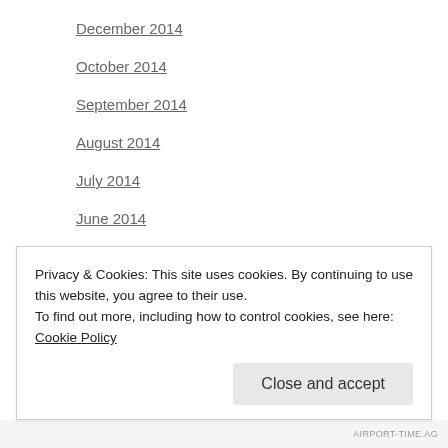December 2014
October 2014
September 2014
August 2014
July 2014
June 2014
May 2014
April 2014
March 2014
February 2014
January 2014
November 2013 (partial, cut off)
Privacy & Cookies: This site uses cookies. By continuing to use this website, you agree to their use.
To find out more, including how to control cookies, see here: Cookie Policy
AIRPORT-TIME.AG